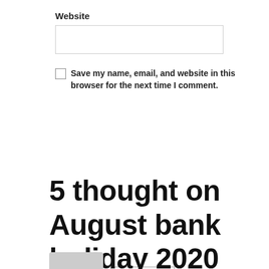Website
[Figure (other): Empty text input field for Website]
[Figure (other): Unchecked checkbox]
Save my name, email, and website in this browser for the next time I comment.
[Figure (other): Post Comment button]
5 thought on August bank holiday 2020
•
[Figure (photo): Grey avatar image, partially visible at bottom]